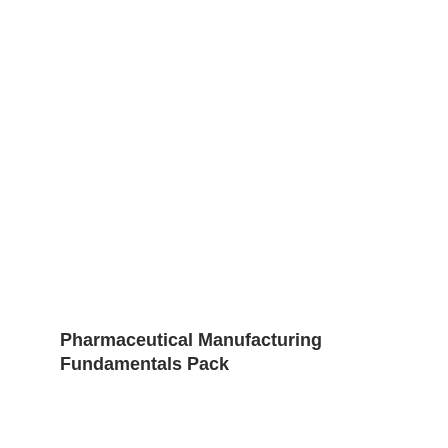Pharmaceutical Manufacturing Fundamentals Pack